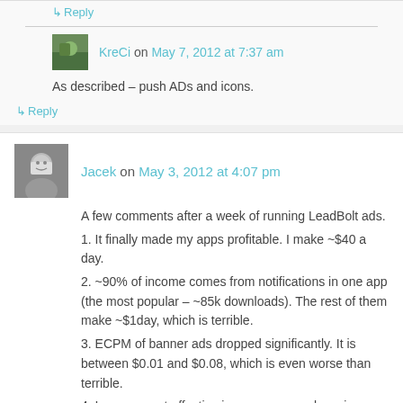↳ Reply
KreCi on May 7, 2012 at 7:37 am
As described – push ADs and icons.
↳ Reply
Jacek on May 3, 2012 at 4:07 pm
A few comments after a week of running LeadBolt ads.
1. It finally made my apps profitable. I make ~$40 a day.
2. ~90% of income comes from notifications in one app (the most popular – ~85k downloads). The rest of them make ~$1day, which is terrible.
3. ECPM of banner ads dropped significantly. It is between $0.01 and $0.08, which is even worse than terrible.
4. Icons are not effective in my case, nearly no income. I turned them off not to piss of my users.
5. I get bad reviews, but I am still getting 5 stars, so it is not that bad.